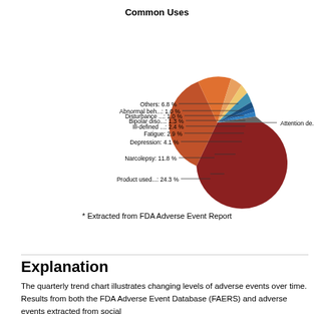[Figure (pie-chart): Common Uses]
* Extracted from FDA Adverse Event Report
Explanation
The quarterly trend chart illustrates changing levels of adverse events over time. Results from both the FDA Adverse Event Database (FAERS) and adverse events extracted from social